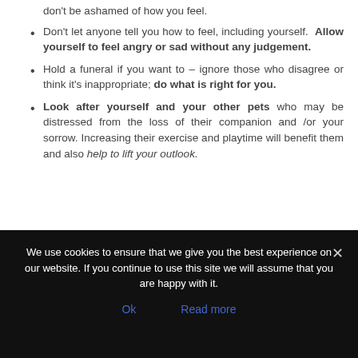don't be ashamed of how you feel.
Don't let anyone tell you how to feel, including yourself. Allow yourself to feel angry or sad without any judgement.
Hold a funeral if you want to – ignore those who disagree or think it's inappropriate; do what is right for you.
Look after yourself and your other pets who may be distressed from the loss of their companion and /or your sorrow. Increasing their exercise and playtime will benefit them and also help to lift your outlook.
We use cookies to ensure that we give you the best experience on our website. If you continue to use this site we will assume that you are happy with it.
Ok   Read more